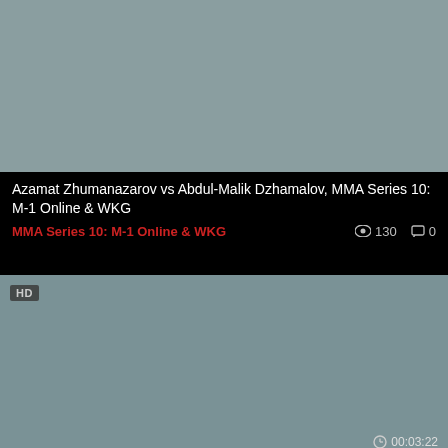[Figure (screenshot): Video thumbnail placeholder (grey) for first video, partially cropped at top]
Azamat Zhumanazarov vs Abdul-Malik Dzhamalov, MMA Series 10: M-1 Online & WKG
MMA Series 10: M-1 Online & WKG   👁 130   💬 0
[Figure (screenshot): Video thumbnail placeholder (grey) for second video with HD badge and duration 00:03:22]
Highlights of the tournament MMA Series 10 : M-1 Online &amp; WKG, 18 Jul
MMA Series 10: M-1 Online & WKG   👁 170   💬 0